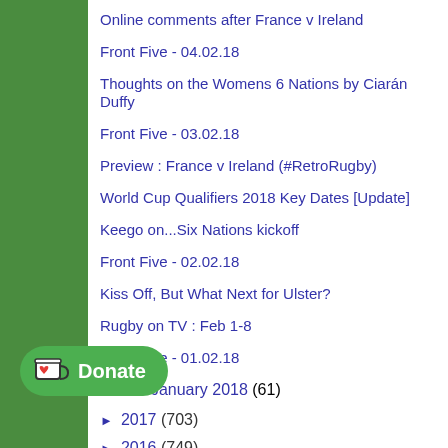Online comments after France v Ireland
Front Five - 04.02.18
Thoughts on the Womens 6 Nations by Ciarán Duffy
Front Five - 03.02.18
Preview : France v Ireland (#RetroRugby)
World Cup Qualifiers 2018 Key Dates [Update]
Keego on...Six Nations kickoff
Front Five - 02.02.18
Kiss Off, But What Next for Ulster?
Rugby on TV : Feb 1-8
Front Five - 01.02.18
► January 2018 (61)
► 2017 (703)
► 2016 (749)
► 2015 (952)
► 2014 (477)
► 2011 (51)
[Figure (other): Donate button with Ko-fi cup icon on green rounded rectangle]